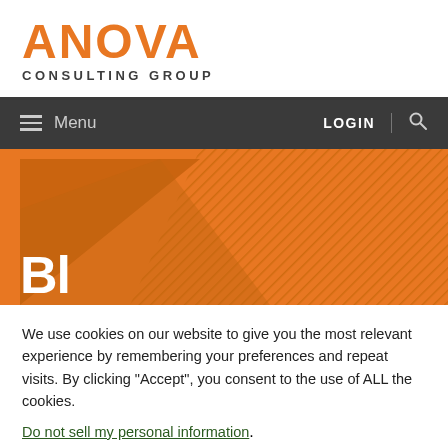[Figure (logo): ANOVA Consulting Group logo with orange text and dark gray subtext]
Menu  LOGIN  🔍
[Figure (illustration): Orange hero banner with geometric triangle pattern and partial white text 'Bl']
We use cookies on our website to give you the most relevant experience by remembering your preferences and repeat visits. By clicking "Accept", you consent to the use of ALL the cookies. Do not sell my personal information.
Cookie Settings  Accept